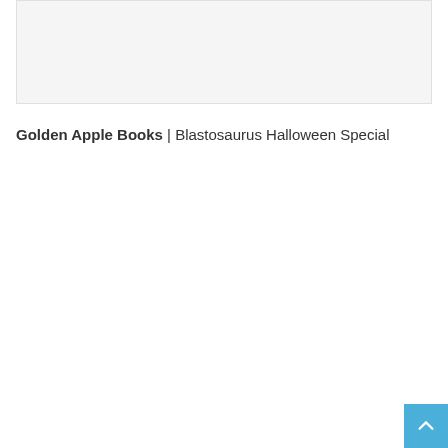[Figure (other): Light gray rectangular placeholder image area]
Golden Apple Books | Blastosaurus Halloween Special
[Figure (other): Blue scroll-to-top button with upward chevron arrow in bottom right corner]